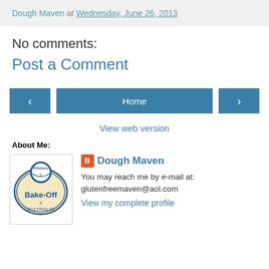Dough Maven at Wednesday, June 26, 2013
No comments:
Post a Comment
‹ Home ›
View web version
About Me:
[Figure (logo): Pillsbury Bake-Off 2012 Finalist badge logo]
Dough Maven
You may reach me by e-mail at: glutenfreemaven@aol.com
View my complete profile